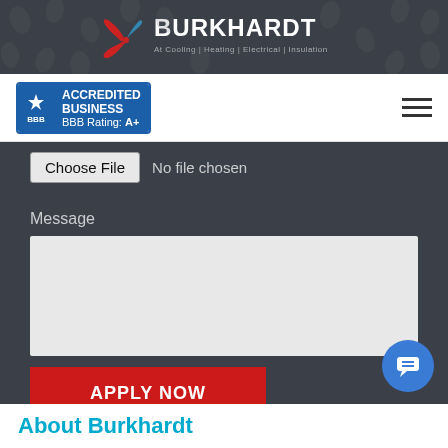[Figure (logo): Burkhardt company logo on dark banner header with decorative dot pattern background]
[Figure (logo): BBB Accredited Business badge with A+ rating]
[Figure (infographic): Hamburger menu icon (three horizontal lines)]
Choose File  No file chosen
Message
[Figure (screenshot): Empty message textarea with light gray background]
APPLY NOW
[Figure (infographic): Blue circular chat bubble icon]
About Burkhardt